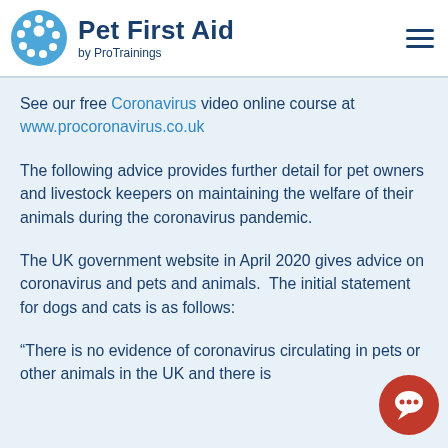Pet First Aid by ProTrainings
See our free Coronavirus video online course at www.procoronavirus.co.uk
The following advice provides further detail for pet owners and livestock keepers on maintaining the welfare of their animals during the coronavirus pandemic.
The UK government website in April 2020 gives advice on coronavirus and pets and animals.  The initial statement for dogs and cats is as follows:
“There is no evidence of coronavirus circulating in pets or other animals in the UK and there is